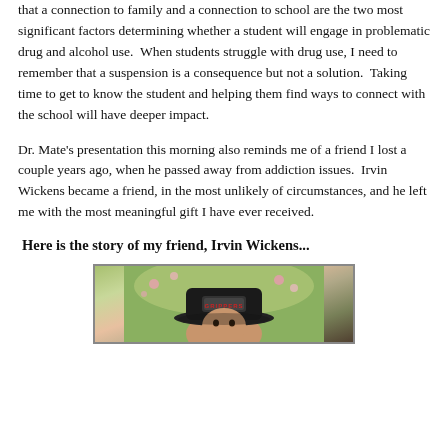that a connection to family and a connection to school are the two most significant factors determining whether a student will engage in problematic drug and alcohol use.  When students struggle with drug use, I need to remember that a suspension is a consequence but not a solution.  Taking time to get to know the student and helping them find ways to connect with the school will have deeper impact.
Dr. Mate's presentation this morning also reminds me of a friend I lost a couple years ago, when he passed away from addiction issues.  Irvin Wickens became a friend, in the most unlikely of circumstances, and he left me with the most meaningful gift I have ever received.
Here is the story of my friend, Irvin Wickens...
[Figure (photo): Photograph of Irvin Wickens wearing a dark baseball cap with a logo, with a blurred outdoor background of flowers and greenery.]